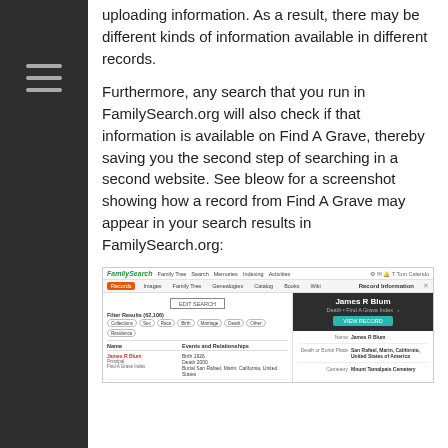uploading information. As a result, there may be different kinds of information available in different records.
Furthermore, any search that you run in FamilySearch.org will also check if that information is available on Find A Grave, thereby saving you the second step of searching in a second website. See bleow for a screenshot showing how a record from Find A Grave may appear in your search results in FamilySearch.org:
[Figure (screenshot): Screenshot of FamilySearch.org showing search results for James R Blum, with a Record Information panel open showing Death - Find A Grave Index result. Details include Name: James R Blum, Death or Burial Place: San Rafael, Marin, California, United States of America, Cemetery: Mount Tamalpais Cemetery.]